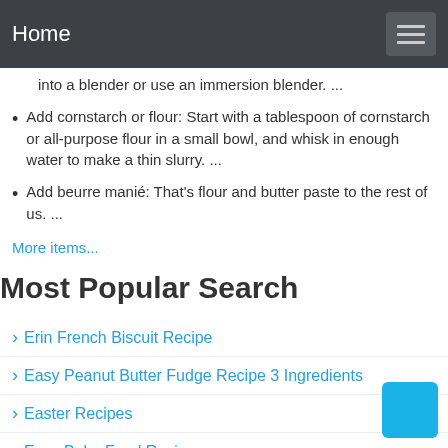Home
into a blender or use an immersion blender. ...
Add cornstarch or flour: Start with a tablespoon of cornstarch or all-purpose flour in a small bowl, and whisk in enough water to make a thin slurry. ...
Add beurre manié: That's flour and butter paste to the rest of us. ...
More items...
Most Popular Search
Erin French Biscuit Recipe
Easy Peanut Butter Fudge Recipe 3 Ingredients
Easter Recipes
Easy Baby Food Recipes
Edward Delling Williams Recipes